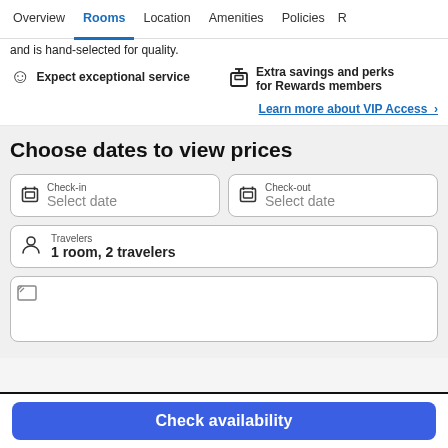Overview  Rooms  Location  Amenities  Policies  R
and is hand-selected for quality.
Expect exceptional service
Extra savings and perks for Rewards members
Learn more about VIP Access >
Choose dates to view prices
Check-in  Select date
Check-out  Select date
Travelers  1 room, 2 travelers
[Figure (screenshot): Partial image placeholder (broken image icon)]
Check availability